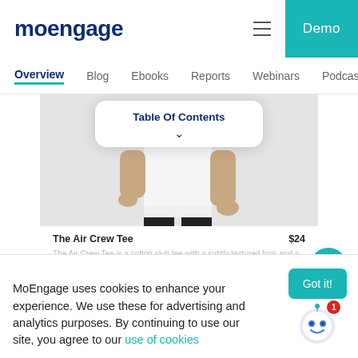moengage   Demo
Overview  Blog  Ebooks  Reports  Webinars  Podcas
[Figure (screenshot): Product page screenshot showing a person wearing The Air Crew Tee white shirt and dark pants, with a Table of Contents card overlay]
The Air Crew Tee   $24
The Air Crew Tee is a cotton slub tee with a subtly textured look and a weightless feel. We made it in lightweight 3.1 oz cotton
MoEngage uses cookies to enhance your experience. We use these for advertising and analytics purposes. By continuing to use our site, you agree to our use of cookies